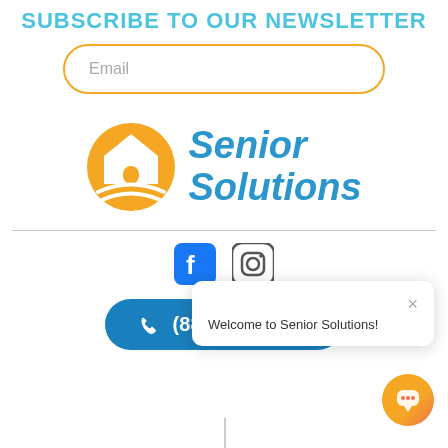SUBSCRIBE TO OUR NEWSLETTER
Email
[Figure (logo): Senior Solutions logo with orange house icon and blue text reading Senior Solutions]
[Figure (infographic): Social media icons: Facebook and Instagram]
Welcome to Senior Solutions!
(888) 769-7724